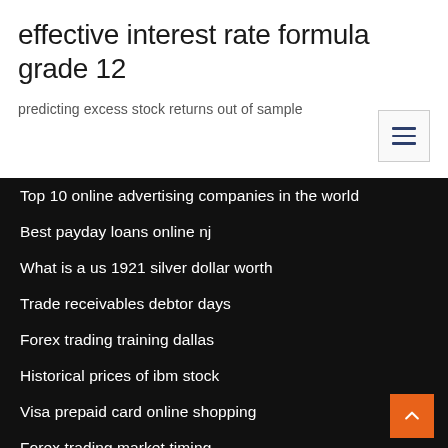effective interest rate formula grade 12
predicting excess stock returns out of sample
Top 10 online advertising companies in the world
Best payday loans online nj
What is a us 1921 silver dollar worth
Trade receivables debtor days
Forex trading training dallas
Historical prices of ibm stock
Visa prepaid card online shopping
Forex trading market timing
Income stock price